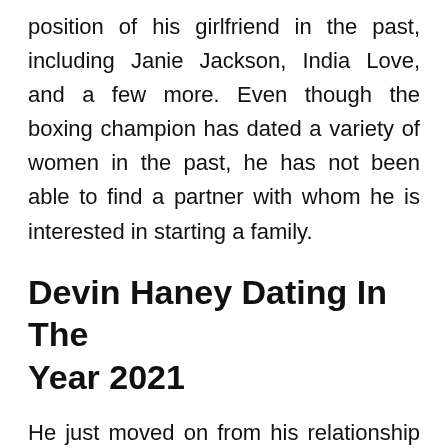position of his girlfriend in the past, including Janie Jackson, India Love, and a few more. Even though the boxing champion has dated a variety of women in the past, he has not been able to find a partner with whom he is interested in starting a family.
Devin Haney Dating In The Year 2021
He just moved on from his relationship with Devin Haney's Girlfriend in 2021 and is now seeing India Love Westbrooks. She is a